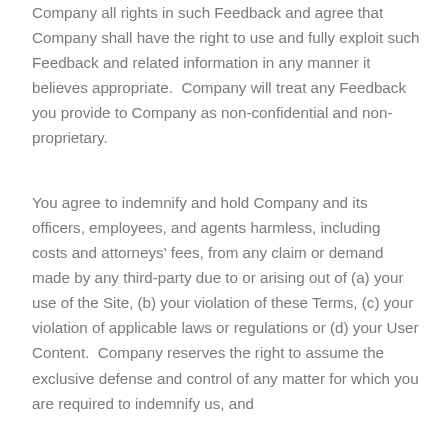Company all rights in such Feedback and agree that Company shall have the right to use and fully exploit such Feedback and related information in any manner it believes appropriate.  Company will treat any Feedback you provide to Company as non-confidential and non-proprietary.
You agree to indemnify and hold Company and its officers, employees, and agents harmless, including costs and attorneys' fees, from any claim or demand made by any third-party due to or arising out of (a) your use of the Site, (b) your violation of these Terms, (c) your violation of applicable laws or regulations or (d) your User Content.  Company reserves the right to assume the exclusive defense and control of any matter for which you are required to indemnify us, and you agree to cooperate with us in defense of the...